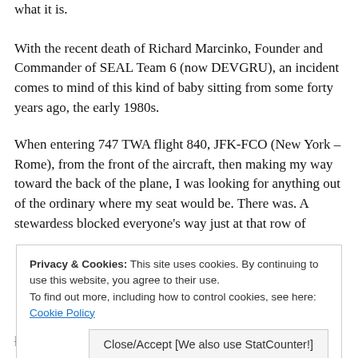what it is.
With the recent death of Richard Marcinko, Founder and Commander of SEAL Team 6 (now DEVGRU), an incident comes to mind of this kind of baby sitting from some forty years ago, the early 1980s.
When entering 747 TWA flight 840, JFK-FCO (New York – Rome), from the front of the aircraft, then making my way toward the back of the plane, I was looking for anything out of the ordinary where my seat would be. There was. A stewardess blocked everyone's way just at that row of
Privacy & Cookies: This site uses cookies. By continuing to use this website, you agree to their use. To find out more, including how to control cookies, see here: Cookie Policy
Close/Accept [We also use StatCounter!]
had the still empty window seat (no window in that row